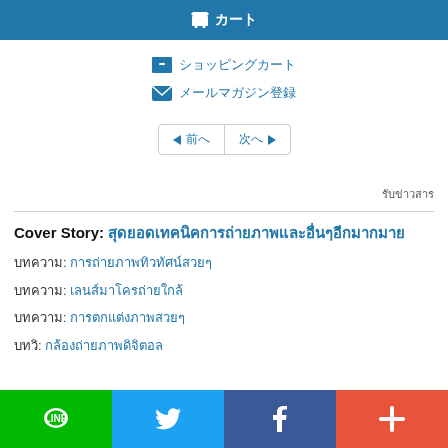🛒 カート
📦 ショッピングカート
✉ メールマガジン登録
◀ 前へ | 次へ ▶
รับข่าวสาร
Cover Story: สุดยอดเทคนิคการถ่ายภาพ
บทความ: การถ่ายภาพทิวทัศน์
บทความ: เลนส์มาโคร
บทความ: การตกแต่งภาพ
บทวิ: กล้องถ่ายภาพ
LINE | Twitter | Facebook | +